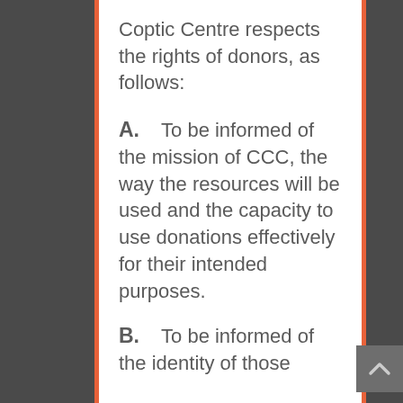Coptic Centre respects the rights of donors, as follows:
A.    To be informed of the mission of CCC, the way the resources will be used and the capacity to use donations effectively for their intended purposes.
B.    To be informed of the identity of those